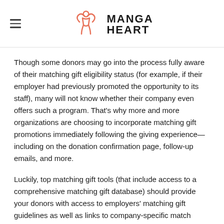MANGA HEART
Though some donors may go into the process fully aware of their matching gift eligibility status (for example, if their employer had previously promoted the opportunity to its staff), many will not know whether their company even offers such a program. That's why more and more organizations are choosing to incorporate matching gift promotions immediately following the giving experience—including on the donation confirmation page, follow-up emails, and more.
Luckily, top matching gift tools (that include access to a comprehensive matching gift database) should provide your donors with access to employers' matching gift guidelines as well as links to company-specific match request forms. This will enable users to determine matching gift eligibility in just